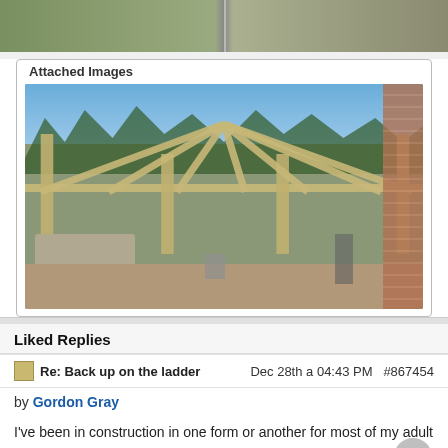[Figure (photo): Top portion of outdoor construction/patio photos, split into two panels showing patio/backyard area]
Attached Images
[Figure (photo): Construction photo of a wooden pergola/patio cover frame being built in a backyard, with exposed rafters and posts, hot tub visible on left, brick house on right, blue sky and trees in background]
Liked Replies
Re: Back up on the ladder    Dec 28th a 04:43 PM  #867454
by Gordon Gray
I've been in construction in one form or another for most of my adult life. ( except for 6 years in the Armed Forces 68-74) The past 30 years as a commercial construction superintendent ( at 71 I'm still